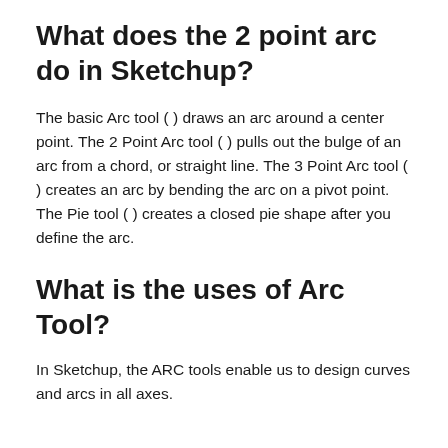What does the 2 point arc do in Sketchup?
The basic Arc tool ( ) draws an arc around a center point. The 2 Point Arc tool ( ) pulls out the bulge of an arc from a chord, or straight line. The 3 Point Arc tool ( ) creates an arc by bending the arc on a pivot point. The Pie tool ( ) creates a closed pie shape after you define the arc.
What is the uses of Arc Tool?
In Sketchup, the ARC tools enable us to design curves and arcs in all axes.